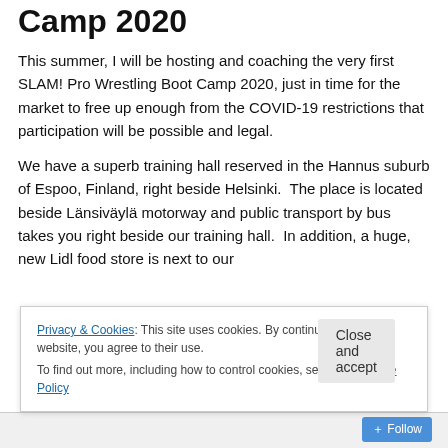Camp 2020
This summer, I will be hosting and coaching the very first SLAM! Pro Wrestling Boot Camp 2020, just in time for the market to free up enough from the COVID-19 restrictions that participation will be possible and legal.
We have a superb training hall reserved in the Hannus suburb of Espoo, Finland, right beside Helsinki.  The place is located beside Länsiväylä motorway and public transport by bus takes you right beside our training hall.  In addition, a huge, new Lidl food store is next to our
Privacy & Cookies: This site uses cookies. By continuing to use this website, you agree to their use.
To find out more, including how to control cookies, see here: Cookie Policy
Close and accept